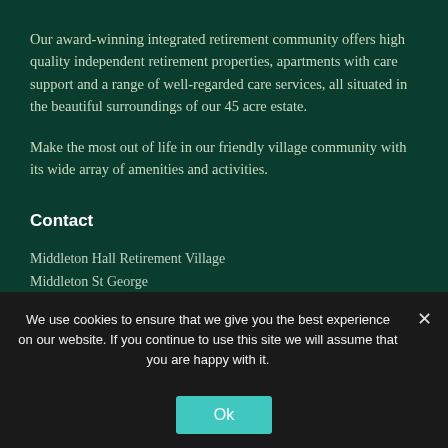Our award-winning integrated retirement community offers high quality independent retirement properties, apartments with care support and a range of well-regarded care services, all situated in the beautiful surroundings of our 45 acre estate.
Make the most out of life in our friendly village community with its wide array of amenities and activities.
Contact
Middleton Hall Retirement Village
Middleton St George
Darlington
Co. Durham
DL2 1HA
t. 01325 332 207
e. info@mhrv.co.uk
We use cookies to ensure that we give you the best experience on our website. If you continue to use this site we will assume that you are happy with it.